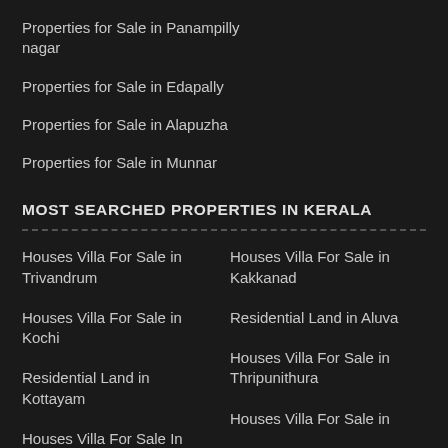Properties for Sale in Panampilly nagar
Properties for Sale in Edapally
Properties for Sale in Alapuzha
Properties for Sale in Munnar
MOST SEARCHED PROPERTIES IN KERALA
Houses Villa For Sale in Trivandrum
Houses Villa For Sale in Kakkanad
Houses Villa For Sale in Kochi
Residential Land in Aluva
Residential Land in Kottayam
Houses Villa For Sale in Thripunithura
Houses Villa For Sale In Thrissur
Houses Villa For Sale in